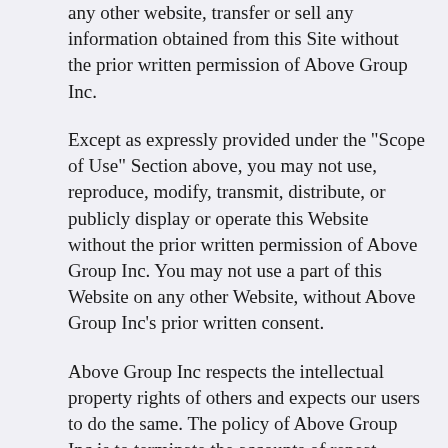any other website, transfer or sell any information obtained from this Site without the prior written permission of Above Group Inc.
Except as expressly provided under the "Scope of Use" Section above, you may not use, reproduce, modify, transmit, distribute, or publicly display or operate this Website without the prior written permission of Above Group Inc. You may not use a part of this Website on any other Website, without Above Group Inc's prior written consent.
Above Group Inc respects the intellectual property rights of others and expects our users to do the same. The policy of Above Group Inc is to terminate the accounts of repeat copyright offenders and other users who infringe upon the intellectual property rights of others. If you believe that your work has been copied in a way that constitutes copyright infringement, please